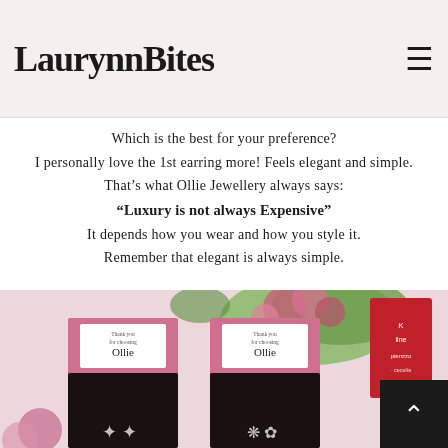LaurynnBites
Which is the best for your preference?
I personally love the 1st earring more! Feels elegant and simple.
That’s what Ollie Jewellery always says:
"Luxury is not always Expensive"
It depends how you wear and how you style it.
Remember that elegant is always simple.
[Figure (photo): Two pink jewelry boxes open showing earrings on black velvet, with white thank-you cards from Ollie Jewellery inside, surrounded by pink flowers and green plants. A red box is visible in the background. A scroll-to-top button is in the bottom right corner.]